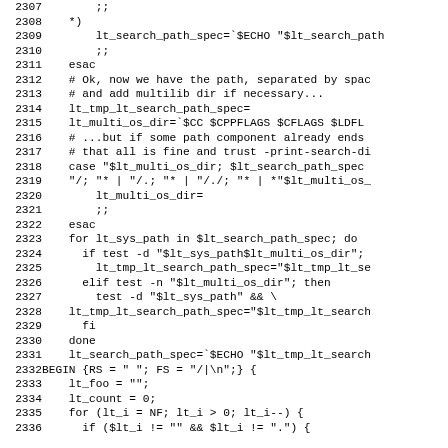Code listing lines 2307-2336, shell script / awk code